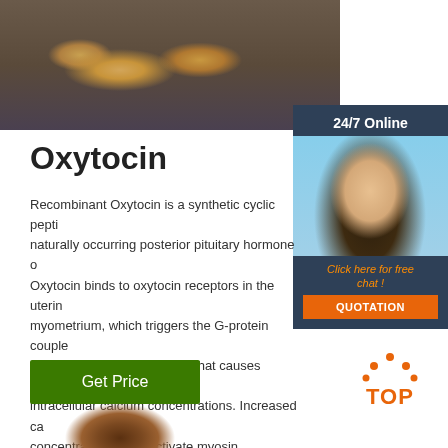[Figure (photo): Close-up photo of ginger root on a dark wooden surface]
[Figure (photo): 24/7 Online customer service widget with a female agent wearing a headset, orange chat button and QUOTATION button]
Oxytocin
Recombinant Oxytocin is a synthetic cyclic peptide that mimics naturally occurring posterior pituitary hormone ox... Oxytocin binds to oxytocin receptors in the uterine myometrium, which triggers the G-protein coupled signal transduction cascade that causes increased intracellular calcium concentrations. Increased ca concentration levels activate myosin ...
[Figure (other): Green Get Price button]
[Figure (logo): TOP logo with orange dots arranged in a triangle above the letters TOP in orange]